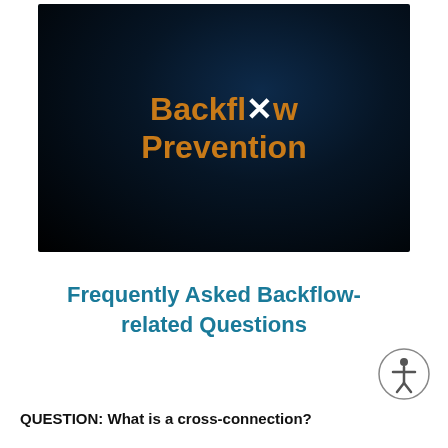[Figure (screenshot): Video thumbnail with dark blue background showing 'Backflow Prevention' title in orange bold text with a white X overlaid between the two words]
Frequently Asked Backflow-related Questions
QUESTION: What is a cross-connection?